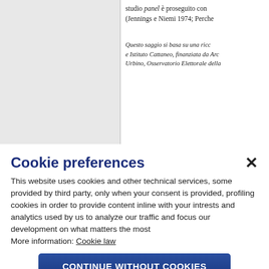studio panel è proseguito con (Jennings e Niemi 1974; Perche
Questo saggio si basa su una ricc e Istituto Cattaneo, finanziata da Arc Urbino, Osservatorio Elettorale della
Cookie preferences
This website uses cookies and other technical services, some provided by third party, only when your consent is provided, profiling cookies in order to provide content inline with your intrests and analytics used by us to analyze our traffic and focus our development on what matters the most
More information: Cookie law
CONTINUE WITHOUT COOKIES
ACCEPT ALL
CUSTOMIZE